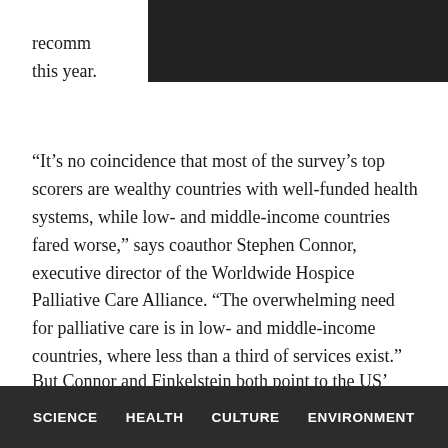recomm…ater this year.
“It’s no coincidence that most of the survey’s top scorers are wealthy countries with well-funded health systems, while low- and middle-income countries fared worse,” says coauthor Stephen Connor, executive director of the Worldwide Hospice Palliative Care Alliance. “The overwhelming need for palliative care is in low- and middle-income countries, where less than a third of services exist.”
But Connor and Finkelstein both point to the US’ middling ranking as proof that money doesn’t always
SCIENCE   HEALTH   CULTURE   ENVIRONMENT